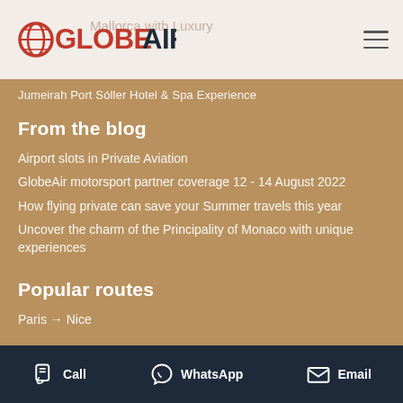GlobeAir
Jumeirah Port Sóller Hotel & Spa Experience
From the blog
Airport slots in Private Aviation
GlobeAir motorsport partner coverage 12 - 14 August 2022
How flying private can save your Summer travels this year
Uncover the charm of the Principality of Monaco with unique experiences
Popular routes
Paris → Nice
Call  WhatsApp  Email